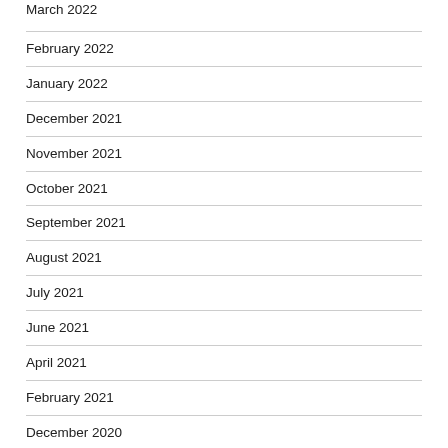March 2022
February 2022
January 2022
December 2021
November 2021
October 2021
September 2021
August 2021
July 2021
June 2021
April 2021
February 2021
December 2020
October 2020